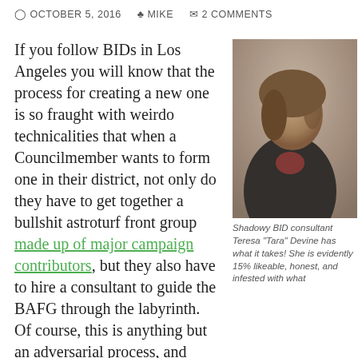OCTOBER 5, 2016  MIKE  2 COMMENTS
If you follow BIDs in Los Angeles you will know that the process for creating a new one is so fraught with weirdo technicalities that when a Councilmember wants to form one in their district, not only do they have to get together a bullshit astroturf front group made up of major campaign contributors, but they also have to hire a consultant to guide the BAFG through the labyrinth. Of course, this is anything but an adversarial process, and success is pre-ordained. However, if the requirements imposed by the
[Figure (photo): Blurry photo of a woman in a dark jacket, side profile, in an indoor setting]
Shadowy BID consultant Teresa "Tara" Devine has what it takes! She is evidently 15% likeable, honest, and infested with what